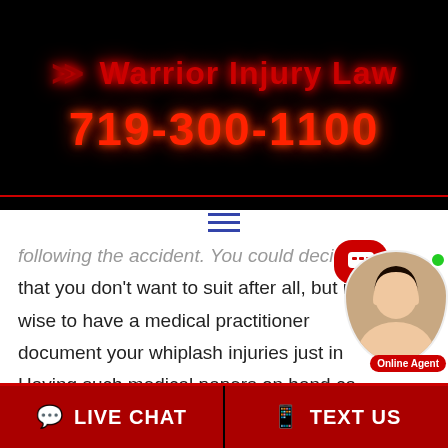[Figure (logo): Warrior Injury Law logo with chevron arrows and phone number 719-300-1100 on black background]
following the accident. You could decide later that you don't want to suit after all, but it's wise to have a medical practitioner document your whiplash injuries just in case. Having such medical papers on hand ca...
[Figure (photo): Online chat agent widget showing a woman's photo with green dot and red Online Agent label]
LIVE CHAT
TEXT US